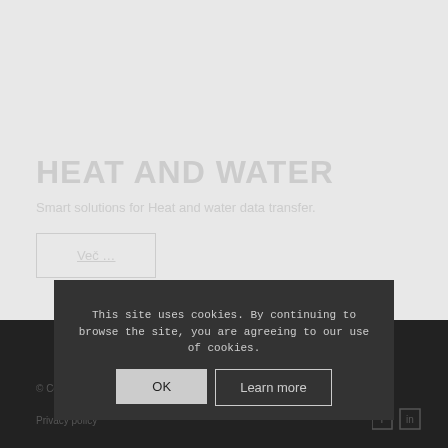HEAT AND WATER
Smart solutions for Heat and water data transfer.
Več ...
This site uses cookies. By continuing to browse the site, you are agreeing to our use of cookies.
© Copyright - Asprotec | Executive Simon Fromsberger
Privacy policy
f  in